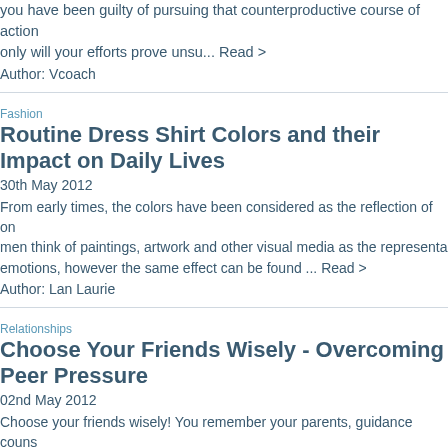you have been guilty of pursuing that counterproductive course of action only will your efforts prove unsu... Read >
Author: Vcoach
Fashion
Routine Dress Shirt Colors and their Impact on Daily Lives
30th May 2012
From early times, the colors have been considered as the reflection of on men think of paintings, artwork and other visual media as the representa emotions, however the same effect can be found ... Read >
Author: Lan Laurie
Relationships
Choose Your Friends Wisely - Overcoming Peer Pressure
02nd May 2012
Choose your friends wisely! You remember your parents, guidance couns time after time, right? But, it wasn't until I reached adult-hood, that I truly found myself sounding like my parents an... Read >
Author: Robert and Kimberly Murgatroyd
Relationships
How To Text Your Ex Back - A 5 Phase Approach